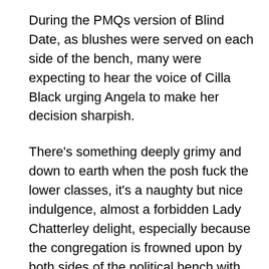During the PMQs version of Blind Date, as blushes were served on each side of the bench, many were expecting to hear the voice of Cilla Black urging Angela to make her decision sharpish.
There's something deeply grimy and down to earth when the posh fuck the lower classes, it's a naughty but nice indulgence, almost a forbidden Lady Chatterley delight, especially because the congregation is frowned upon by both sides of the political bench with such historical vehemence.
One can distantly imagine, with squinted eyes, Boris harrumping away to the delighted squeals of Rayner as her common as shite accent yelps potty mouthed affirmations with every Borisian thrust. The grand finale ending with the triumphant exit of Fascinus' elite Republican guards, sprayed fortuitously over Rayner's eagerly accepting face and flaming